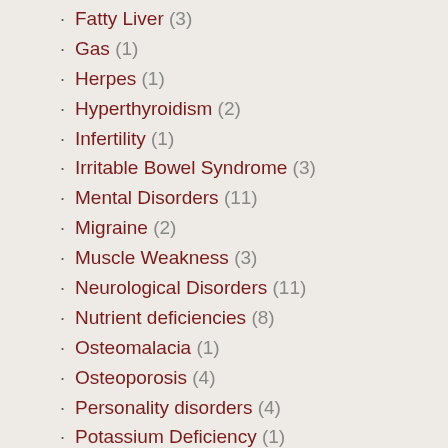Fatty Liver (3)
Gas (1)
Herpes (1)
Hyperthyroidism (2)
Infertility (1)
Irritable Bowel Syndrome (3)
Mental Disorders (11)
Migraine (2)
Muscle Weakness (3)
Neurological Disorders (11)
Nutrient deficiencies (8)
Osteomalacia (1)
Osteoporosis (4)
Personality disorders (4)
Potassium Deficiency (1)
Psoriasis (2)
Restless Leg Syndrome (1)
Selenium deficiency (1)
Vitamin A deficiency (2)
Vitamin B2 (Riboflavin) Deficiency (3)